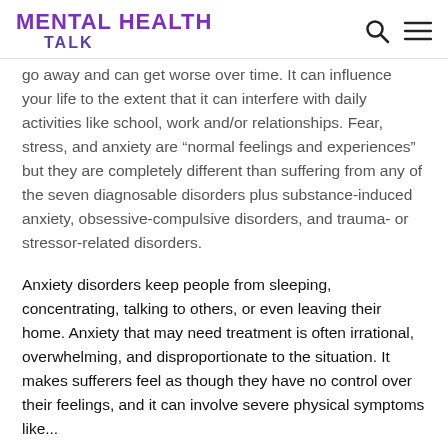MENTAL HEALTH TALK
go away and can get worse over time. It can influence your life to the extent that it can interfere with daily activities like school, work and/or relationships. Fear, stress, and anxiety are “normal feelings and experiences” but they are completely different than suffering from any of the seven diagnosable disorders plus substance-induced anxiety, obsessive-compulsive disorders, and trauma- or stressor-related disorders.
Anxiety disorders keep people from sleeping, concentrating, talking to others, or even leaving their home. Anxiety that may need treatment is often irrational, overwhelming, and disproportionate to the situation. It makes sufferers feel as though they have no control over their feelings, and it can involve severe physical symptoms like...